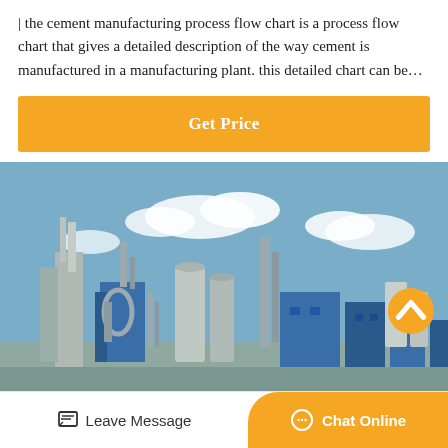| the cement manufacturing process flow chart is a process flow chart that gives a detailed description of the way cement is manufactured in a manufacturing plant. this detailed chart can be…
[Figure (other): Orange 'Get Price' button]
[Figure (photo): Photograph of a cement manufacturing plant with blue industrial structures, silos, pipes, and chimneys against a blue sky with clouds]
[Figure (other): Bottom navigation bar with 'Leave Message' button (left) and orange 'Chat Online' button (right)]